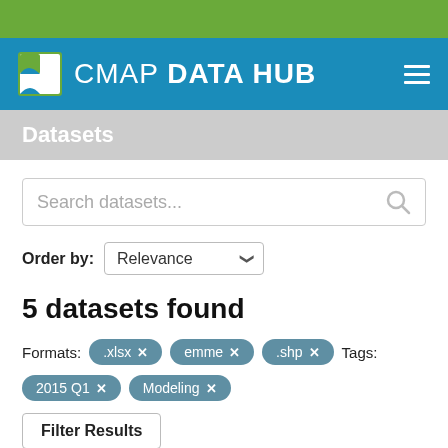CMAP DATA HUB
Datasets
Search datasets...
Order by: Relevance
5 datasets found
Formats: .xlsx  emme  .shp  Tags:
2015 Q1  Modeling
Filter Results